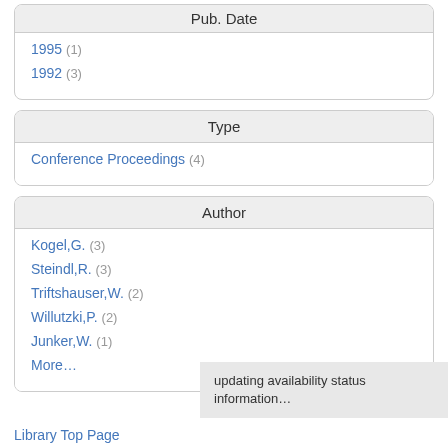Pub. Date
1995 (1)
1992 (3)
Type
Conference Proceedings (4)
Author
Kogel,G. (3)
Steindl,R. (3)
Triftshauser,W. (2)
Willutzki,P. (2)
Junker,W. (1)
More…
updating availability status information…
Library Top Page